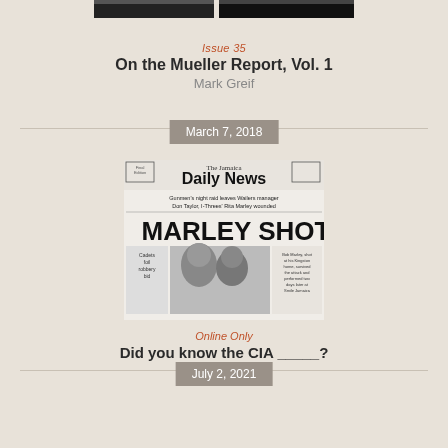[Figure (screenshot): Partial top image of what appears to be a webpage or document header, cropped at top]
Issue 35
On the Mueller Report, Vol. 1
Mark Greif
March 7, 2018
[Figure (photo): Black and white newspaper front page of 'The Jamaica Daily News' with headline 'MARLEY SHOT' and subheading 'Gunmen's night raid leaves Wailers manager Don Taylor, I-Threes' Rita Marley wounded']
Online Only
Did you know the CIA _____?
Malcolm Harris
July 2, 2021